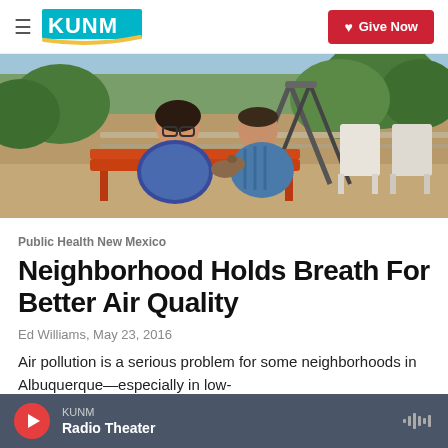KUNM | Give Now
[Figure (photo): Two people sitting together outdoors on a bench/swing, with a small dog, surrounded by trees and outdoor furniture in a backyard setting.]
Public Health New Mexico
Neighborhood Holds Breath For Better Air Quality
Ed Williams, May 23, 2016
Air pollution is a serious problem for some neighborhoods in Albuquerque—especially in low-income areas that have been studied to have more…
KUNM Radio Theater